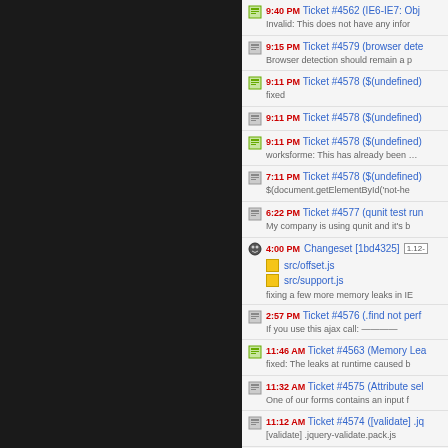9:40 PM Ticket #4562 (IE6-IE7: Obj... Invalid: This does not have any infor...
9:15 PM Ticket #4579 (browser dete... Browser detection should remain a p...
9:11 PM Ticket #4578 ($(undefined)... fixed
9:11 PM Ticket #4578 ($(undefined)...
9:11 PM Ticket #4578 ($(undefined)... worksforme: This has already been ...
7:11 PM Ticket #4578 ($(undefined)... $(document.getElementById('not-he...
6:22 PM Ticket #4577 (qunit test run... My company is using qunit and it's b...
4:00 PM Changeset [1bd4325] 1.12- src/offset.js src/support.js fixing a few more memory leaks in IE...
2:57 PM Ticket #4576 (.find not perf... If you use this ajax call: -----------...
11:46 AM Ticket #4563 (Memory Lea... fixed: The leaks at runtime caused b...
11:32 AM Ticket #4575 (Attribute sel... One of our forms contains an input f...
11:12 AM Ticket #4574 ([validate] .jq... [validate] .jquery-validate.pack.js ...